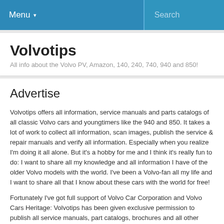Menu ▾   Search
Volvotips
All info about the Volvo PV, Amazon, 140, 240, 740, 940 and 850!
Advertise
Volvotips offers all information, service manuals and parts catalogs of all classic Volvo cars and youngtimers like the 940 and 850. It takes a lot of work to collect all information, scan images, publish the service & repair manuals and verify all information. Especially when you realize I'm doing it all alone. But it's a hobby for me and I think it's really fun to do: I want to share all my knowledge and all information I have of the older Volvo models with the world. I've been a Volvo-fan all my life and I want to share all that I know about these cars with the world for free!
Fortunately I've got full support of Volvo Car Corporation and Volvo Cars Heritage: Volvotips has been given exclusive permission to publish all service manuals, part catalogs, brochures and all other documentation and publications that Volvo has produced in the past